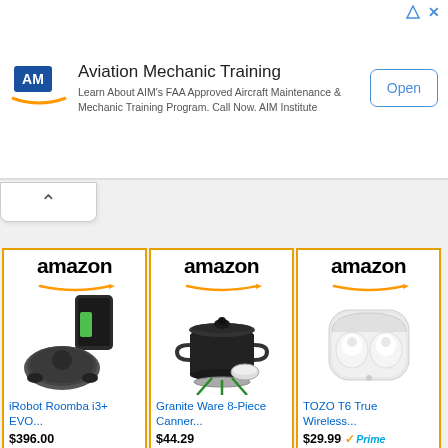[Figure (screenshot): Advertisement banner for Aviation Mechanic Training by AIM Institute. Contains AIM logo, title 'Aviation Mechanic Training', description text about FAA Approved Aircraft Maintenance & Mechanic Training Program, and an 'Open' button.]
[Figure (screenshot): Amazon product cards showing three items: iRobot Roomba i3+ EVO... at $396.00, Granite Ware 8-Piece Canner... at $44.29, and TOZO T6 True Wireless... at $29.99 with Prime badge. Each card has Shop now button with Amazon 'a' logo. A fourth partial card showing Amazon logo appears at bottom left.]